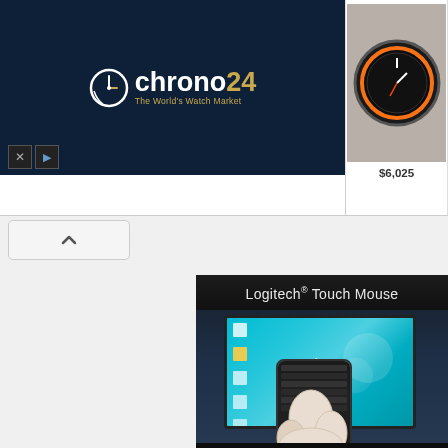[Figure (screenshot): Chrono24 banner advertisement showing luxury watches with prices: $6,025, $13,999, $23,600, $14,455. Logo shows 'chrono24 - The World's Watch Market' on dark navy background.]
[Figure (screenshot): Scroll up button (caret/chevron up arrow) in a rounded rectangle button]
[Figure (screenshot): Logitech Touch Mouse advertisement. Dark background with text 'Logitech® Touch Mouse' and image showing a monitor with teal/cyan desktop wallpaper and a smartphone/touch device being used as a mouse with a hand touching it.]